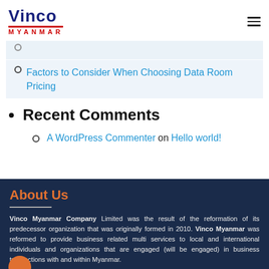Vinco Myanmar
Factors to Consider When Choosing Data Room Pricing
Recent Comments
A WordPress Commenter on Hello world!
About Us
Vinco Myanmar Company Limited was the result of the reformation of its predecessor organization that was originally formed in 2010. Vinco Myanmar was reformed to provide business related multi services to local and international individuals and organizations that are engaged (will be engaged) in business transactions with and within Myanmar.